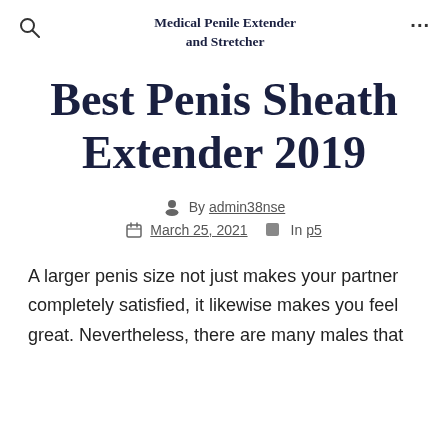Medical Penile Extender and Stretcher
Best Penis Sheath Extender 2019
By admin38nse
March 25, 2021   In p5
A larger penis size not just makes your partner completely satisfied, it likewise makes you feel great. Nevertheless, there are many males that